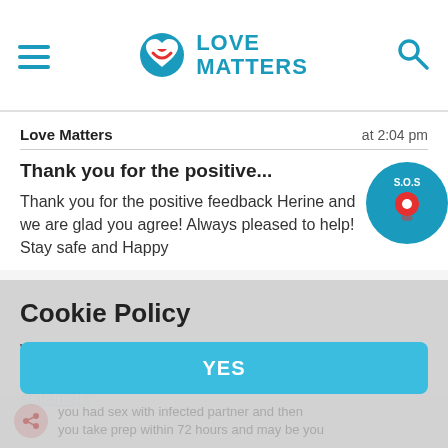Love Matters
Love Matters    at 2:04 pm
Thank you for the positive...
Thank you for the positive feedback Herine and we are glad you agree! Always pleased to help! Stay safe and Happy Easter!
Reply
Cookie Policy
We want to use personalised analytical cookies to help us to improve our website. Read more in our cookie statement
YES
you had sex with infected partner and then you take prep within 72 hours and may be you